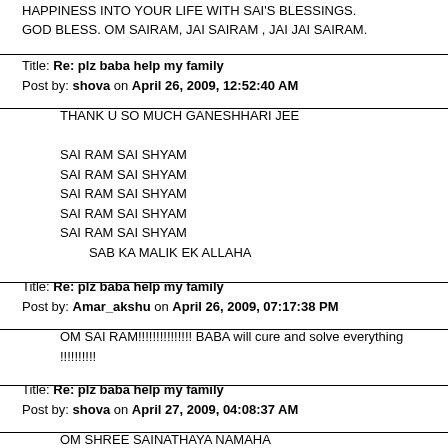HAPPINESS INTO YOUR LIFE WITH SAI'S BLESSINGS. GOD BLESS. OM SAIRAM, JAI SAIRAM , JAI JAI SAIRAM.
Title: Re: plz baba help my family
Post by: shova on April 26, 2009, 12:52:40 AM
THANK U SO MUCH GANESHHARI JEE

SAI RAM SAI SHYAM
SAI RAM SAI SHYAM
SAI RAM SAI SHYAM
SAI RAM SAI SHYAM
SAI RAM SAI SHYAM
        SAB KA MALIK EK ALLAHA
Title: Re: plz baba help my family
Post by: Amar_akshu on April 26, 2009, 07:17:38 PM
OM SAI RAM!!!!!!!!!!!!!!! BABA will cure and solve everything !!!!!!!!!!!
Title: Re: plz baba help my family
Post by: shova on April 27, 2009, 04:08:37 AM
OM SHREE SAINATHAYA NAMAHA
OM SHREE SAINATHAYA NAMAHA
OM SHREE SAINATHAYA NAMAHA